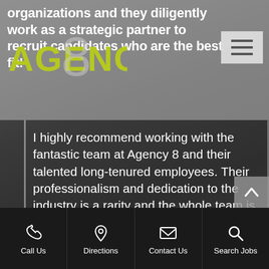organizations and they diligently work as a strategic partner to recruit candidates who are the best fit!
[Figure (logo): Agency 8 logo with stylized 8 in center, 'AGENCY' text in olive/yellow-green color]
I highly recommend working with the fantastic team at Agency 8 and their talented long-tenured employees. Their professionalism and dedication to the industry is a rarity and the whole team is a valuable asset to HR professionals everywhere!
Sarah, Director of Human Resources of an Oil and Gas firm
Call Us  Directions  Contact Us  Search Jobs